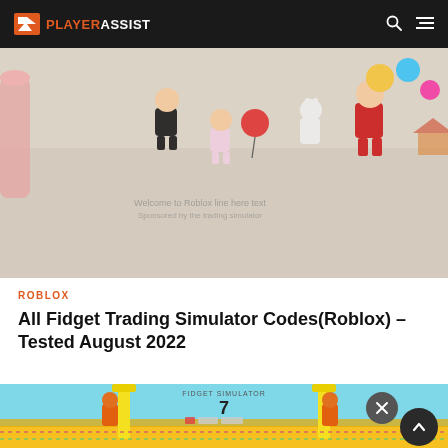PLAYER ASSIST
[Figure (screenshot): Roblox Fidget Trading Simulator gameplay screenshot showing cartoon characters from top-down view with items on a beige floor]
ROBLOX
All Fidget Trading Simulator Codes(Roblox) – Tested August 2022
[Figure (screenshot): Roblox game screenshot showing a yellow arena/ring with orange robot characters and a 7 displayed, light blue sky background]